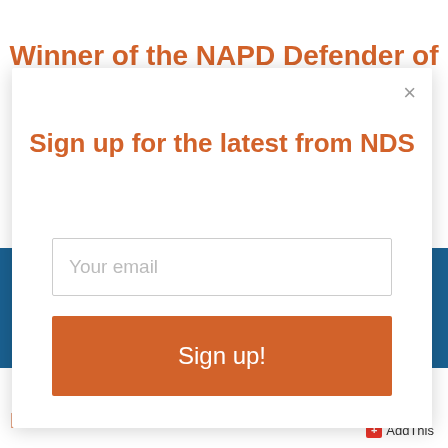Winner of the NAPD Defender of
[Figure (screenshot): Email signup modal dialog with title 'Sign up for the latest from NDS', an email input field with placeholder 'Your email', and an orange 'Sign up!' button. A close (×) button is in the top right of the modal.]
AddThis